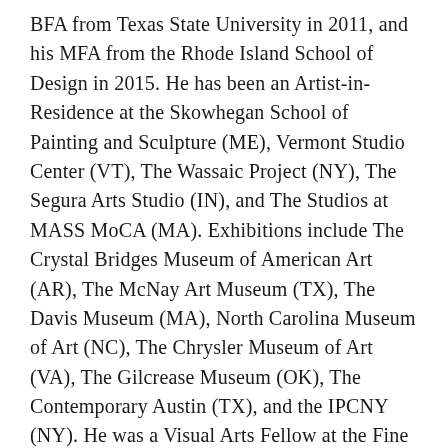BFA from Texas State University in 2011, and his MFA from the Rhode Island School of Design in 2015. He has been an Artist-in-Residence at the Skowhegan School of Painting and Sculpture (ME), Vermont Studio Center (VT), The Wassaic Project (NY), The Segura Arts Studio (IN), and The Studios at MASS MoCA (MA). Exhibitions include The Crystal Bridges Museum of American Art (AR), The McNay Art Museum (TX), The Davis Museum (MA), North Carolina Museum of Art (NC), The Chrysler Museum of Art (VA), The Gilcrease Museum (OK), The Contemporary Austin (TX), and the IPCNY (NY). He was a Visual Arts Fellow at the Fine Arts Work Center from 2015 – 2016 in Provincetown, MA, and is a recipient of the 2019 National Association of Latino Arts and Cultures (NALAC) Fund for the Arts Grant. Through 2020, he is co-curating the New York/San Antonio exhibition Xicanx: New Visions with Suzy González. Menchasa lives and works in San Antonio, TX.